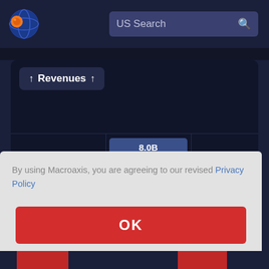[Figure (screenshot): Macroaxis web application screenshot showing a dark navy background with logo (globe icon with orange/blue), a search bar labeled 'US Search', a 'Revenues' section header with up arrows, a partial bar chart with value '8.0B', and a modal dialog overlay with privacy policy consent message and OK button.]
By using Macroaxis, you are agreeing to our revised Privacy Policy
OK